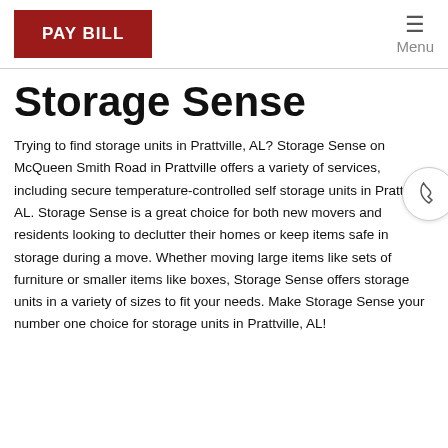PAY BILL | Menu
Storage Sense
Trying to find storage units in Prattville, AL? Storage Sense on McQueen Smith Road in Prattville offers a variety of services, including secure temperature-controlled self storage units in Prattville, AL. Storage Sense is a great choice for both new movers and residents looking to declutter their homes or keep items safe in storage during a move. Whether moving large items like sets of furniture or smaller items like boxes, Storage Sense offers storage units in a variety of sizes to fit your needs. Make Storage Sense your number one choice for storage units in Prattville, AL!